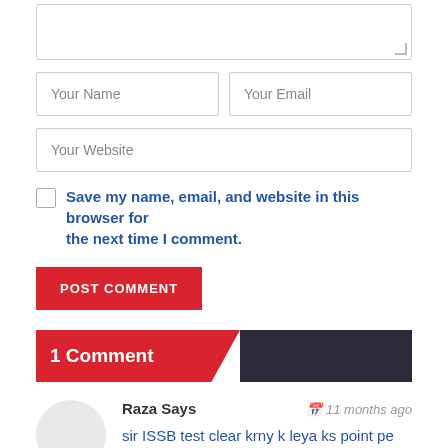[Figure (screenshot): Textarea input field (partially visible, top of page)]
Your Name
Your Email
Your Website
Save my name, email, and website in this browser for the next time I comment.
POST COMMENT
1 Comment
Raza Says
11 months ago
sir ISSB test clear krny k leya ks point pe zeyada